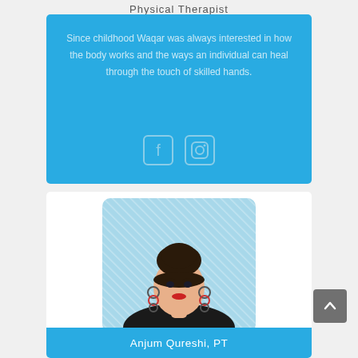Physical Therapist
Since childhood Waqar was always interested in how the body works and the ways an individual can heal through the touch of skilled hands.
[Figure (illustration): Social media icons: Facebook and Instagram, outlined in light blue on a blue background]
[Figure (illustration): Illustrated avatar of a woman with dark hair in a bun, wearing hoop earrings and a black top, on a light blue striped background]
Anjum Qureshi, PT